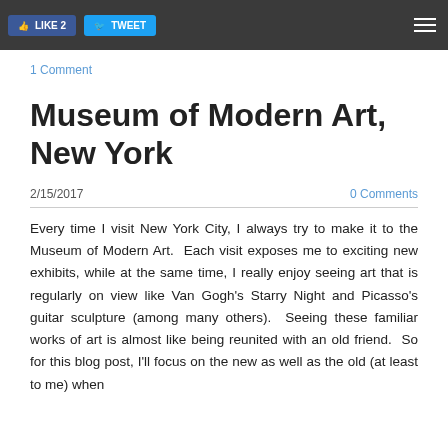LIKE  TWEET
1 Comment
Museum of Modern Art, New York
2/15/2017    0 Comments
Every time I visit New York City, I always try to make it to the Museum of Modern Art.  Each visit exposes me to exciting new exhibits, while at the same time, I really enjoy seeing art that is regularly on view like Van Gogh's Starry Night and Picasso's guitar sculpture (among many others).  Seeing these familiar works of art is almost like being reunited with an old friend.  So for this blog post, I'll focus on the new as well as the old (at least to me) when